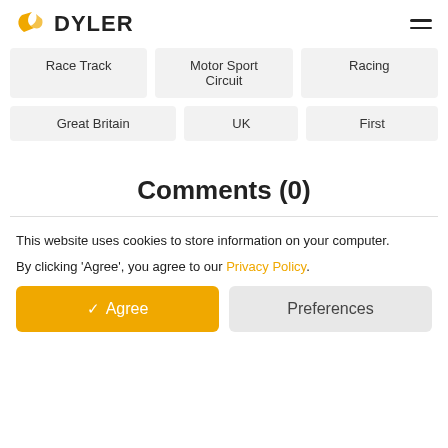DYLER
Race Track
Motor Sport Circuit
Racing
Great Britain
UK
First
Comments (0)
This website uses cookies to store information on your computer. By clicking 'Agree', you agree to our Privacy Policy.